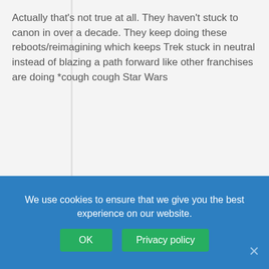Actually that's not true at all. They haven't stuck to canon in over a decade. They keep doing these reboots/reimagining which keeps Trek stuck in neutral instead of blazing a path forward like other franchises are doing *cough cough Star Wars
albatrosity
Reply to Da Trufe
April 5, 2017 12:38 pm
Star Wars is moving forward, sure, but I say look at the execution. TFA was a soft reboot; same story, same recycled ideas. It was hardly innovative and frankly kinda lame. Rogue One, I loved, but it certainly wasn't very new — it filled in a blank, but we already knew the outcome. So sure, SW is "moving forward" but... looking pretty bold of...
We use cookies to ensure that we give you the best experience on our website.
OK
Privacy policy